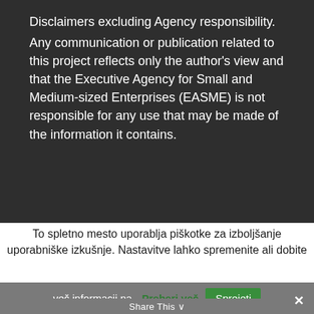Disclaimers excluding Agency responsibility. Any communication or publication related to this project reflects only the author's view and that the Executive Agency for Small and Medium-sized Enterprises (EASME) is not responsible for any use that may be made of the information it contains.
To spletno mesto uporablja piškotke za izboljšanje uporabniške izkušnje. Nastavitve lahko spremenite ali dobite več informacij na.
Preberi več
Sprejeti
Share This